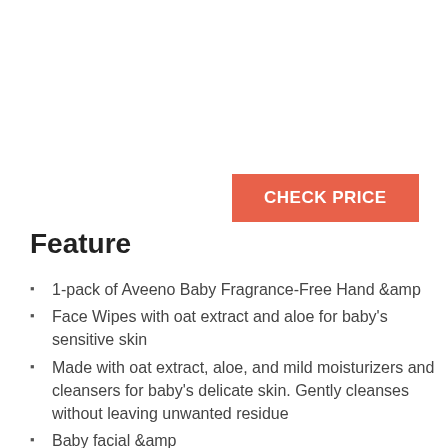[Figure (other): CHECK PRICE button with orange/coral background]
Feature
1-pack of Aveeno Baby Fragrance-Free Hand &amp
Face Wipes with oat extract and aloe for baby's sensitive skin
Made with oat extract, aloe, and mild moisturizers and cleansers for baby's delicate skin. Gently cleanses without leaving unwanted residue
Baby facial &amp
hand wipes are fragrance-free and are free of alcohol, parabens, pthalates, sulfates, formaldehyde, chlorine, gluten, soap, dyes, and toxins